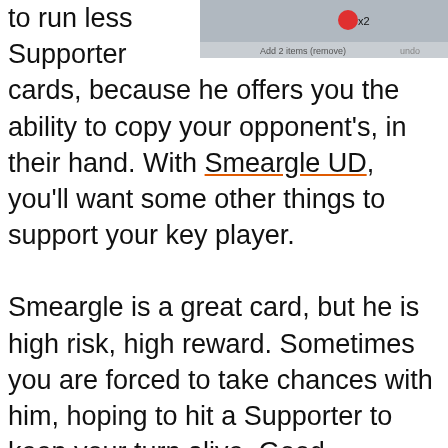[Figure (screenshot): A partial screenshot of a card game interface showing a card with x2 indicator and some UI elements]
to run less Supporter cards, because he offers you the ability to copy your opponent's, in their hand. With Smeargle UD, you'll want some other things to support your key player.

Smeargle is a great card, but he is high risk, high reward. Sometimes you are forced to take chances with him, hoping to hit a Supporter to keep your turn alive. Good opponents can take advantage of this weakness and Junk